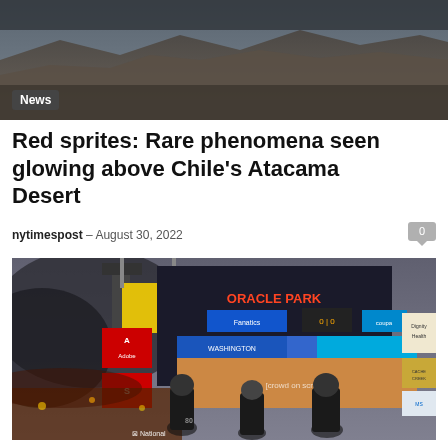[Figure (photo): Mountain landscape with dramatic dark sky and brown/grey mountain ridges in background]
News
Red sprites: Rare phenomena seen glowing above Chile’s Atacama Desert
nytimespost – August 30, 2022
[Figure (photo): Baseball stadium scene at night showing Oracle Park scoreboard and advertising signs with three security/staff members standing in foreground and crowd in background, smoky sky visible]